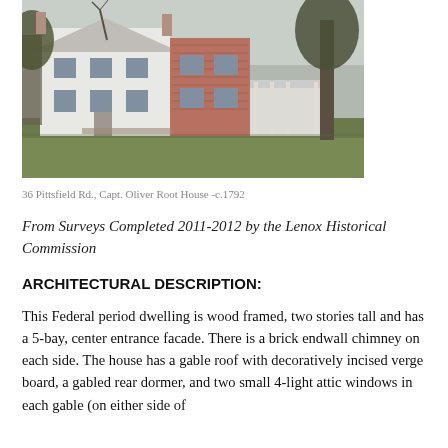[Figure (photo): Exterior photograph of a white wood-framed two-story Federal period house with a brick addition, surrounded by grass and trees, at 36 Pittsfield Rd.]
36 Pittsfield Rd., Capt. Oliver Root House -c.1792
From Surveys Completed 2011-2012 by the Lenox Historical Commission
ARCHITECTURAL DESCRIPTION:
This Federal period dwelling is wood framed, two stories tall and has a 5-bay, center entrance facade. There is a brick endwall chimney on each side. The house has a gable roof with decoratively incised verge board, a gabled rear dormer, and two small 4-light attic windows in each gable (on either side of